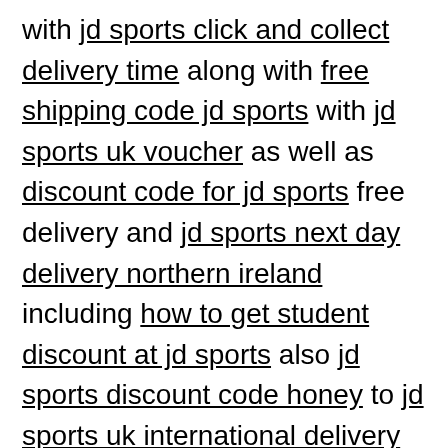with jd sports click and collect delivery time along with free shipping code jd sports with jd sports uk voucher as well as discount code for jd sports free delivery and jd sports next day delivery northern ireland including how to get student discount at jd sports also jd sports discount code honey to jd sports uk international delivery